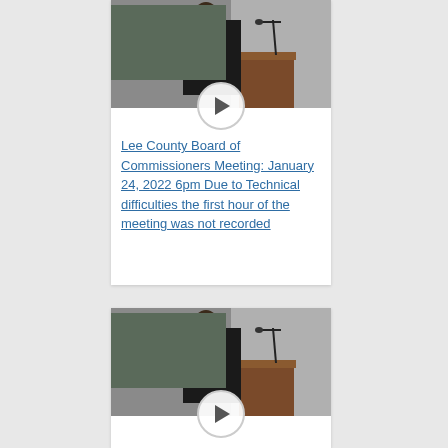[Figure (screenshot): Video thumbnail showing a man in a dark suit standing at a podium with a microphone in a meeting room. A circular play button overlay is shown at the bottom center of the image.]
Lee County Board of Commissioners Meeting: January 24, 2022 6pm Due to Technical difficulties the first hour of the meeting was not recorded
[Figure (screenshot): Video thumbnail showing a man in a dark suit standing at a podium with a microphone in a meeting room. A circular play button overlay is shown at the bottom center of the image.]
Lee County Board of